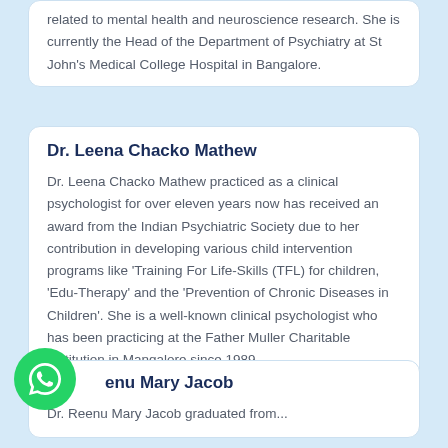related to mental health and neuroscience research. She is currently the Head of the Department of Psychiatry at St John's Medical College Hospital in Bangalore.
Dr. Leena Chacko Mathew
Dr. Leena Chacko Mathew practiced as a clinical psychologist for over eleven years now has received an award from the Indian Psychiatric Society due to her contribution in developing various child intervention programs like 'Training For Life-Skills (TFL) for children, 'Edu-Therapy' and the 'Prevention of Chronic Diseases in Children'. She is a well-known clinical psychologist who has been practicing at the Father Muller Charitable Institution in Mangalore since 1989.
enu Mary Jacob
Dr. Reenu Mary Jacob graduated from...